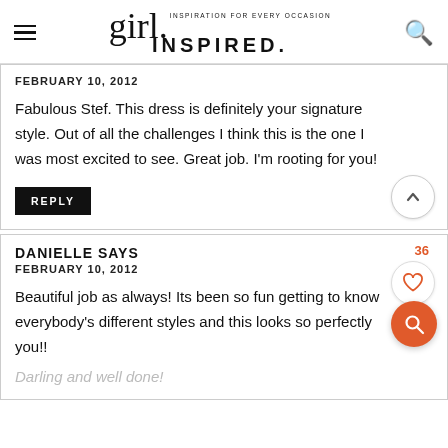[Figure (logo): Girl Inspired blog logo with script 'girl.' text and tagline 'INSPIRATION FOR EVERY OCCASION' above bold sans-serif 'INSPIRED.' text]
FEBRUARY 10, 2012
Fabulous Stef. This dress is definitely your signature style. Out of all the challenges I think this is the one I was most excited to see. Great job. I'm rooting for you!
REPLY
DANIELLE SAYS
FEBRUARY 10, 2012
36
Beautiful job as always! Its been so fun getting to know everybody's different styles and this looks so perfectly you!!
Darling and well done!